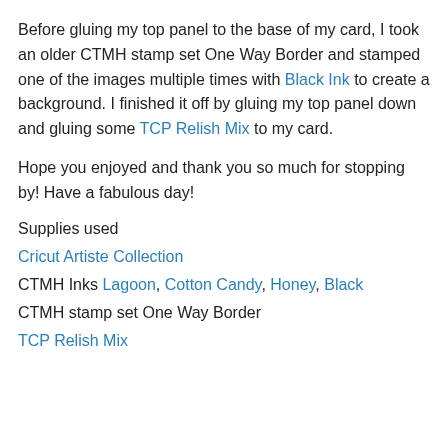Before gluing my top panel to the base of my card, I took an older CTMH stamp set One Way Border and stamped one of the images multiple times with Black Ink to create a background. I finished it off by gluing my top panel down and gluing some TCP Relish Mix to my card.
Hope you enjoyed and thank you so much for stopping by! Have a fabulous day!
Supplies used
Cricut Artiste Collection
CTMH Inks Lagoon, Cotton Candy, Honey, Black
CTMH stamp set One Way Border
TCP Relish Mix